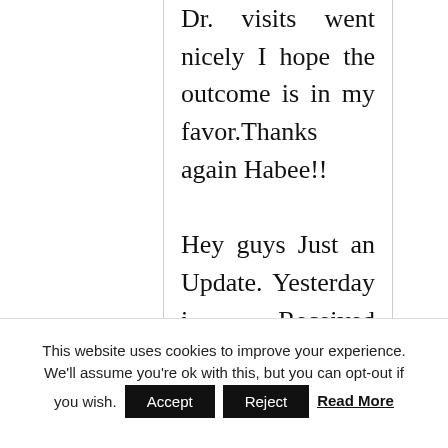Dr. visits went nicely I hope the outcome is in my favor.Thanks again Habee!!

Hey guys Just an Update. Yesterday i Received another Everyday Activity Log. Going back via right here first i figured would be greatest ahead of filling it out. Unlike
This website uses cookies to improve your experience. We'll assume you're ok with this, but you can opt-out if you wish. Accept Reject Read More